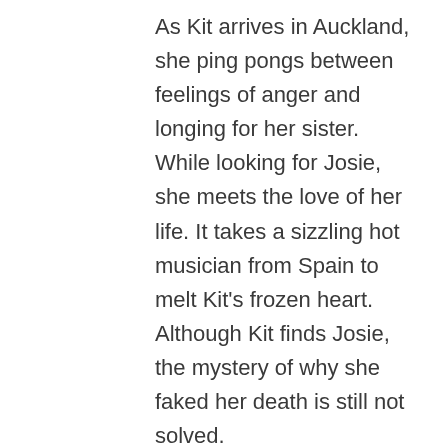As Kit arrives in Auckland, she ping pongs between feelings of anger and longing for her sister. While looking for Josie, she meets the love of her life. It takes a sizzling hot musician from Spain to melt Kit's frozen heart. Although Kit finds Josie, the mystery of why she faked her death is still not solved.
As the story unfurls, flashback scenes explain the dysfunctional family history of Kit, Josie, and their mother. The overarching theme of the book is forgiveness. The people closest to us have the power to hurt us the most.